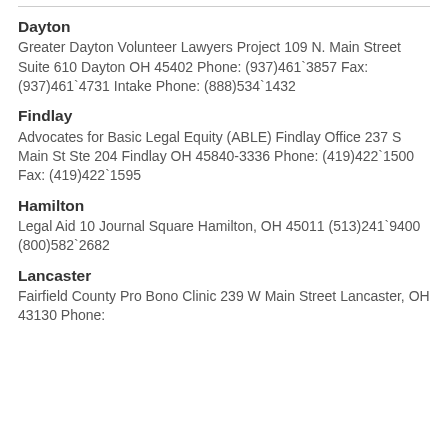Dayton
Greater Dayton Volunteer Lawyers Project 109 N. Main Street Suite 610 Dayton OH 45402 Phone: (937)461`3857 Fax: (937)461`4731 Intake Phone: (888)534`1432
Findlay
Advocates for Basic Legal Equity (ABLE) Findlay Office 237 S Main St Ste 204 Findlay OH 45840-3336 Phone: (419)422`1500 Fax: (419)422`1595
Hamilton
Legal Aid 10 Journal Square Hamilton, OH 45011 (513)241`9400 (800)582`2682
Lancaster
Fairfield County Pro Bono Clinic 239 W Main Street Lancaster, OH 43130 Phone: